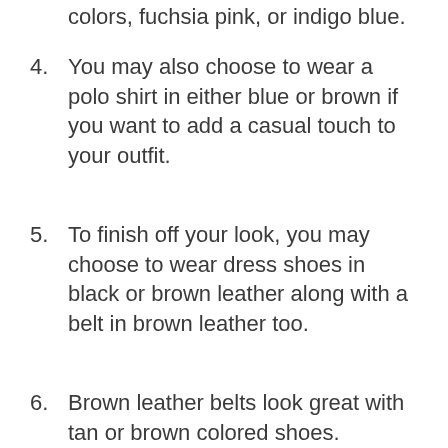colors, fuchsia pink, or indigo blue.
4. You may also choose to wear a polo shirt in either blue or brown if you want to add a casual touch to your outfit.
5. To finish off your look, you may choose to wear dress shoes in black or brown leather along with a belt in brown leather too.
6. Brown leather belts look great with tan or brown colored shoes.
7. A pair of black leather oxford shoes would also look good.